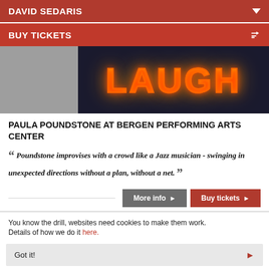DAVID SEDARIS
BUY TICKETS
[Figure (photo): Neon sign reading LAUGH in orange/yellow neon letters on a dark background, with a gray panel on the left]
PAULA POUNDSTONE AT BERGEN PERFORMING ARTS CENTER
Poundstone improvises with a crowd like a Jazz musician - swinging in unexpected directions without a plan, without a net.
You know the drill, websites need cookies to make them work. Details of how we do it here.
Got it!